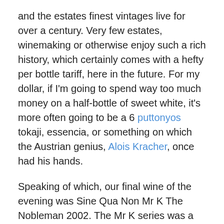and the estates finest vintages live for over a century. Very few estates, winemaking or otherwise enjoy such a rich history, which certainly comes with a hefty per bottle tariff, here in the future. For my dollar, if I'm going to spend way too much money on a half-bottle of sweet white, it's more often going to be a 6 puttonyos tokaji, essencia, or something on which the Austrian genius, Alois Kracher, once had his hands.
Speaking of which, our final wine of the evening was Sine Qua Non Mr K The Nobleman 2002. The Mr K series was a partnership of Sine Qua Non proprietor Manfred Krankl and the aforementioned Kracher, which ended abruptly upon Kracher's untimely passing. Kracher's family continues to produce the eponymous wines that made him famous. While the SQN Mr K The Nobleman 2002 (Chardonnay) is one of the lights at this evening...